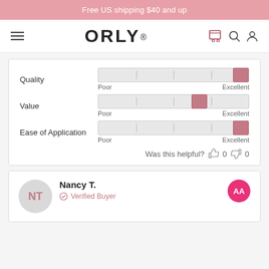Free US shipping $40 and up
[Figure (logo): ORLY brand logo with hamburger menu, cart, search, and user icons]
[Figure (infographic): Product review rating sliders for Quality, Value, and Ease of Application with Poor to Excellent scale. Quality and Ease of Application near maximum; Value near middle-high.]
Was this helpful? 0 0
Nancy T.
Verified Buyer